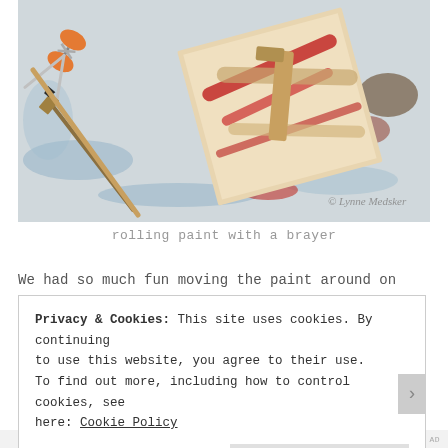[Figure (photo): Overhead photo of an artist's work table with orange scissors, paint brushes, a roller/brayer, and a canvas card with red, white, and tan paint strokes. The background surface has blue and red paint smears. A copyright watermark reads '© Lynne Medsker'.]
rolling paint with a brayer
We had so much fun moving the paint around on
Privacy & Cookies: This site uses cookies. By continuing to use this website, you agree to their use.
To find out more, including how to control cookies, see here: Cookie Policy
Close and accept
RECENT TIPS AD